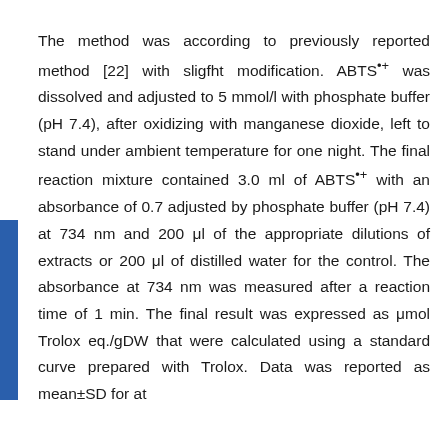The method was according to previously reported method [22] with sligfht modification. ABTS•+ was dissolved and adjusted to 5 mmol/l with phosphate buffer (pH 7.4), after oxidizing with manganese dioxide, left to stand under ambient temperature for one night. The final reaction mixture contained 3.0 ml of ABTS•+ with an absorbance of 0.7 adjusted by phosphate buffer (pH 7.4) at 734 nm and 200 μl of the appropriate dilutions of extracts or 200 μl of distilled water for the control. The absorbance at 734 nm was measured after a reaction time of 1 min. The final result was expressed as μmol Trolox eq./gDW that were calculated using a standard curve prepared with Trolox. Data was reported as mean±SD for at